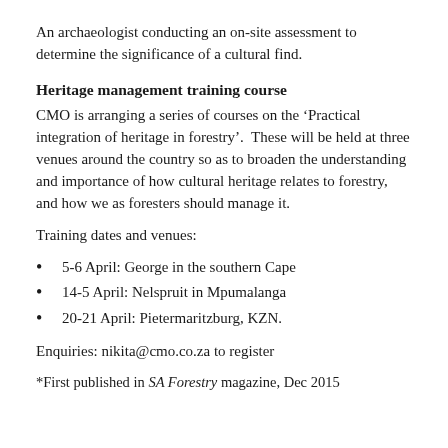An archaeologist conducting an on-site assessment to determine the significance of a cultural find.
Heritage management training course
CMO is arranging a series of courses on the ‘Practical integration of heritage in forestry’.  These will be held at three venues around the country so as to broaden the understanding and importance of how cultural heritage relates to forestry, and how we as foresters should manage it.
Training dates and venues:
5-6 April: George in the southern Cape
14-5 April: Nelspruit in Mpumalanga
20-21 April: Pietermaritzburg, KZN.
Enquiries: nikita@cmo.co.za to register
*First published in SA Forestry magazine, Dec 2015